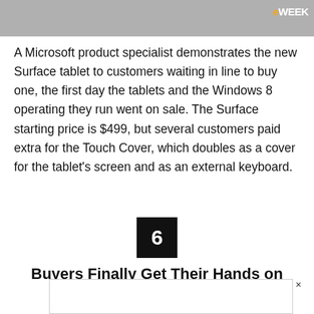[Figure (photo): Photo strip showing a Microsoft product specialist demonstrating the Surface tablet to customers, with eWEEK logo badge in top right corner]
A Microsoft product specialist demonstrates the new Surface tablet to customers waiting in line to buy one, the first day the tablets and the Windows 8 operating they run went on sale. The Surface starting price is $499, but several customers paid extra for the Touch Cover, which doubles as a cover for the tablet’s screen and as an external keyboard.
6
Buyers Finally Get Their Hands on Surface
[Figure (other): Advertisement box with close button (x)]